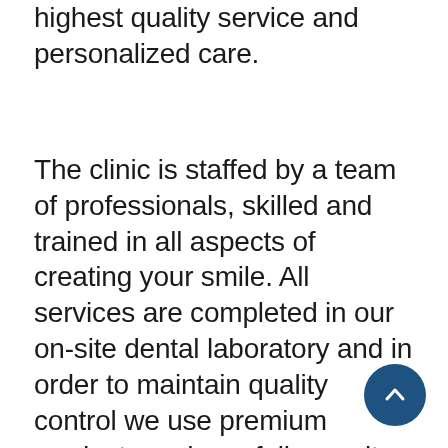highest quality service and personalized care.
The clinic is staffed by a team of professionals, skilled and trained in all aspects of creating your smile. All services are completed in our on-site dental laboratory and in order to maintain quality control we use premium products and carefully monitor each procedure done, making sure you get nothing less than what you deserve. For new dentures we utilize a low allergy, high impact resistant premium denture acrylic, which has been very successful for those with sensitive oral tissue or allergies. We follow current sterilization protocols of the College of